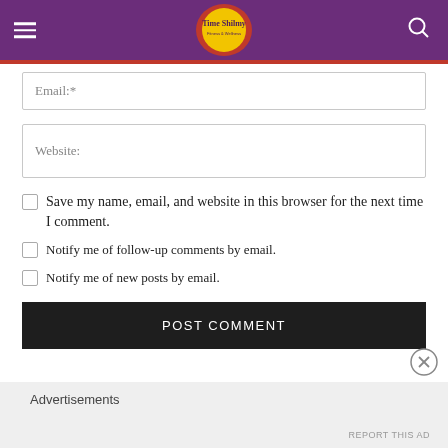[Figure (logo): Time Shilmy blog header logo with purple background, hamburger menu on left, search icon on right, and centered yellow circular logo with red decorative border]
Email:*
Website:
Save my name, email, and website in this browser for the next time I comment.
Notify me of follow-up comments by email.
Notify me of new posts by email.
POST COMMENT
Advertisements
REPORT THIS AD